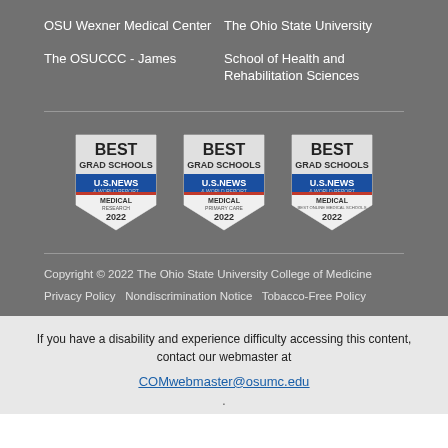OSU Wexner Medical Center
The Ohio State University
The OSUCCC - James
School of Health and Rehabilitation Sciences
[Figure (logo): Three US News & World Report Best Grad Schools Medical badges for 2022: Medical Research, Medical Primary Care, and Best Online Medical Schools]
Copyright © 2022 The Ohio State University College of Medicine
Privacy Policy   Nondiscrimination Notice   Tobacco-Free Policy
If you have a disability and experience difficulty accessing this content, contact our webmaster at COMwebmaster@osumc.edu